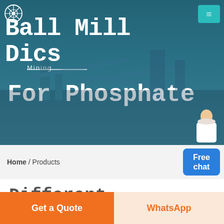[Figure (photo): Banner image of mining/industrial plant with conveyors and machinery, overlaid with large white text. Header navigation includes a circular logo with 'Mining' text and a teal hamburger menu button. A customer service representative image is visible bottom right of the banner.]
Ball Mill Disc For Phosphate
Home / Products
Free chat
Different Machines To Meet All Need
[Figure (photo): Industrial building interior showing ceiling structure, blue tinted.]
Get a Quote
WhatsApp